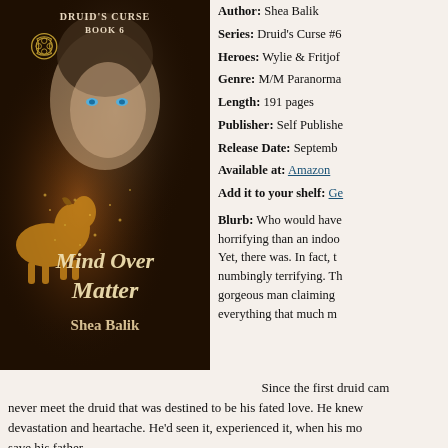[Figure (illustration): Book cover for 'Mind Over Matter' by Shea Balik, Druid's Curse Book 6. Features a shirtless blond man with blue eyes, a golden horse, Celtic knot symbol, and decorative script title on a dark background.]
Author: Shea Balik
Series: Druid's Curse #6
Heroes: Wylie & Fritjof
Genre: M/M Paranormal
Length: 191 pages
Publisher: Self Published
Release Date: September
Available at: Amazon
Add it to your shelf: Go
Blurb: Who would have horrifying than an indoor Yet, there was. In fact, th numbingly terrifying. Tha gorgeous man claiming everything that much mo
Since the first druid cam never meet the druid that was destined to be his fated love. He knew devastation and heartache. He'd seen it, experienced it, when his mo save his father.